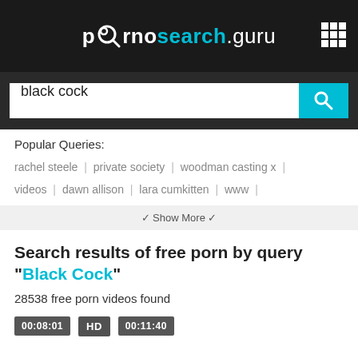[Figure (logo): pornosearch.guru logo in white and cyan on dark background]
[Figure (screenshot): Search input box with text 'black cock' and cyan search button]
Popular Queries:
rachel steele | private society | woodman casting x | videos | dawn allison | lara cumkitten | www |
Show More
Search results of free porn by query "Black Cock"
28538 free porn videos found
00:08:01   HD   00:11:40